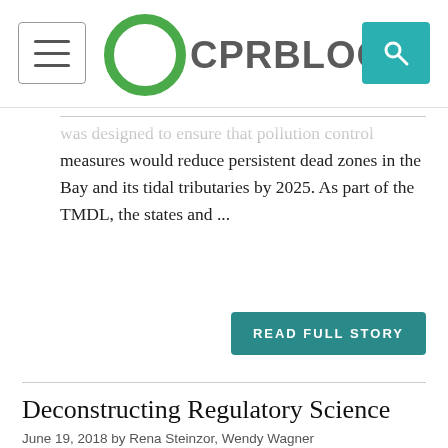CPR BLOG
was designed to ensure that pollution control measures would reduce persistent dead zones in the Bay and its tidal tributaries by 2025. As part of the TMDL, the states and ...
READ FULL STORY
Deconstructing Regulatory Science
June 19, 2018 by Rena Steinzor, Wendy Wagner
[Figure (photo): Researcher in lab coat, face shield, and gloves operating laboratory equipment]